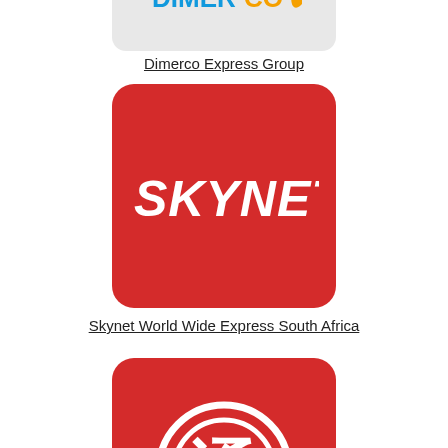[Figure (logo): Dimerco Express Group logo on gray background]
Dimerco Express Group
[Figure (logo): Skynet logo - white SKYNET text on red rounded square background]
Skynet World Wide Express South Africa
[Figure (logo): MailPlus logo - white Chinese character in circle on red rounded square]
MailPlus
[Figure (logo): Partial hexagonal geometric logo with orange and teal colors on light gray background - partially visible]